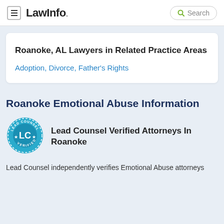LawInfo. Search
Roanoke, AL Lawyers in Related Practice Areas
Adoption, Divorce, Father's Rights
Roanoke Emotional Abuse Information
[Figure (logo): Lead Counsel Verified badge — circular teal badge with 'LC' in center and text 'LEAD COUNSEL VERIFIED' around the edge]
Lead Counsel Verified Attorneys In Roanoke
Lead Counsel independently verifies Emotional Abuse attorneys